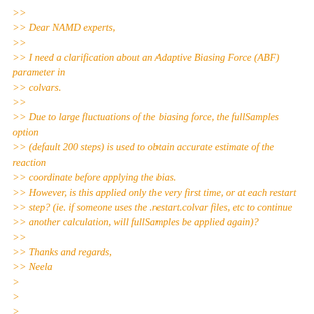>>
>> Dear NAMD experts,
>>
>> I need a clarification about an Adaptive Biasing Force (ABF) parameter in
>> colvars.
>>
>> Due to large fluctuations of the biasing force, the fullSamples option
>> (default 200 steps) is used to obtain accurate estimate of the reaction
>> coordinate before applying the bias.
>> However, is this applied only the very first time, or at each restart
>> step? (ie. if someone uses the .restart.colvar files, etc to continue
>> another calculation, will fullSamples be applied again)?
>>
>> Thanks and regards,
>> Neela
>
>
>
>
> --
> ~~~~~~~~~~~~~~~~~~~~